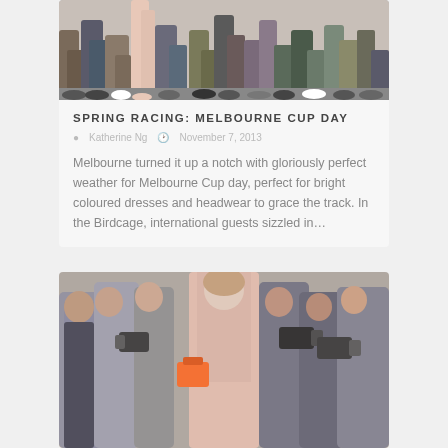[Figure (photo): Cropped crowd photo showing legs and feet of many people standing outdoors]
SPRING RACING: MELBOURNE CUP DAY
Katherine Ng  ·  November 7, 2013
Melbourne turned it up a notch with gloriously perfect weather for Melbourne Cup day, perfect for bright coloured dresses and headwear to grace the track. In the Birdcage, international guests sizzled in…
[Figure (photo): Street fashion photo of tall woman in pink lace outfit holding an orange handbag, surrounded by photographers and crowd]